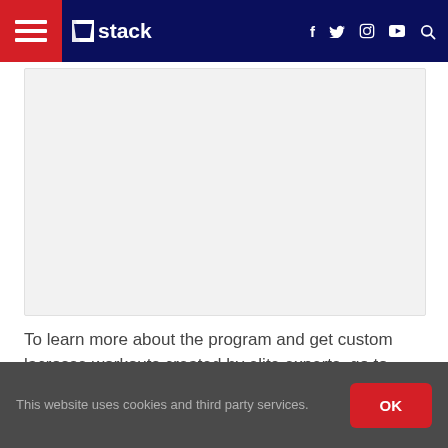Stack — navigation bar with hamburger menu, logo, social icons (f, twitter, instagram, youtube), and search
[Figure (other): Light gray rectangular image placeholder area]
To learn more about the program and get custom lacrosse workouts created by elite experts, go to BridgeAthletic.com.
This website uses cookies and third party services.